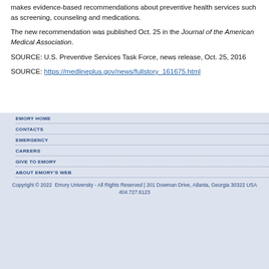makes evidence-based recommendations about preventive health services such as screening, counseling and medications.
The new recommendation was published Oct. 25 in the Journal of the American Medical Association.
SOURCE: U.S. Preventive Services Task Force, news release, Oct. 25, 2016
SOURCE: https://medlineplus.gov/news/fullstory_161675.html
EMORY HOME
CONTACTS
EMERGENCY
CAREERS
GIVE TO EMORY
ABOUT EMORY'S WEB
Copyright © 2022  Emory University - All Rights Reserved | 201 Dowman Drive, Atlanta, Georgia 30322 USA 404.727.6123